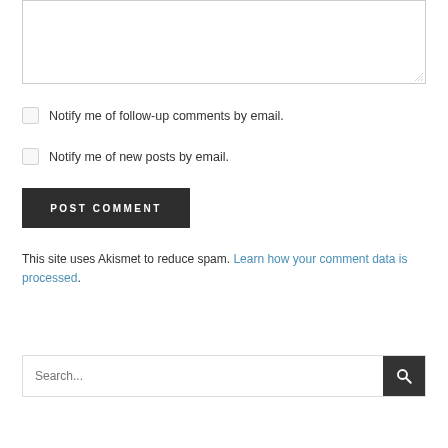[Figure (other): Text area input box with resize handle at bottom-right corner]
Notify me of follow-up comments by email.
Notify me of new posts by email.
POST COMMENT
This site uses Akismet to reduce spam. Learn how your comment data is processed.
Search...